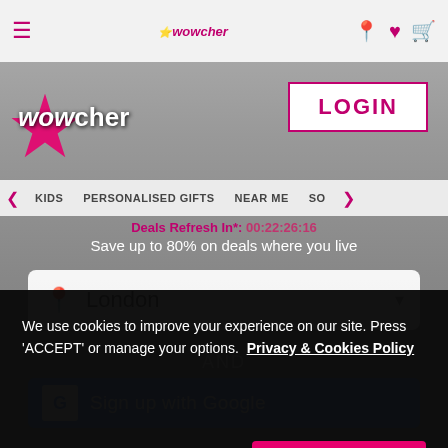[Figure (screenshot): Wowcher website screenshot showing top navigation bar with hamburger menu, logo, location pin, heart and basket icons]
wowcher
KIDS   PERSONALISED GIFTS   NEAR ME   SO
Deals Refresh In*: 00:22:26:16
Save up to 80% on deals where you live
London
AND
Sign up with Google
We use cookies to improve your experience on our site. Press 'ACCEPT' or manage your options.  Privacy & Cookies Policy
Options
ACCEPT